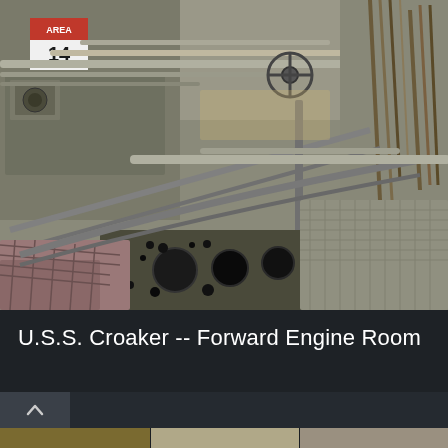[Figure (photo): Interior photograph of the U.S.S. Croaker Forward Engine Room showing large diesel engines, pipes, cables, metal grating, safety railings, and an 'AREA 14' sign. The engine block in the foreground shows multiple large circular cylinder openings. Metal scaffolding and piping fill the background.]
U.S.S. Croaker -- Forward Engine Room
[Figure (photo): Partial bottom strip showing thumbnail images of additional engine room photos.]